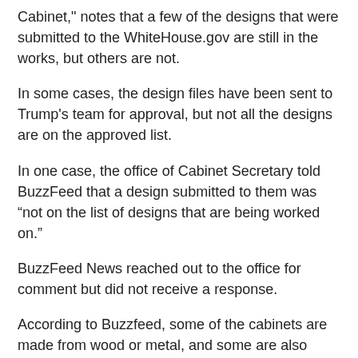Cabinet," notes that a few of the designs that were submitted to the WhiteHouse.gov are still in the works, but others are not.
In some cases, the design files have been sent to Trump's team for approval, but not all the designs are on the approved list.
In one case, the office of Cabinet Secretary told BuzzFeed that a design submitted to them was “not on the list of designs that are being worked on.”
BuzzFeed News reached out to the office for comment but did not receive a response.
According to Buzzfeed, some of the cabinets are made from wood or metal, and some are also made out of fiberglass or other lightweight materials, which can add up to a lot to make a cabinet.
Other cabinet designs, such as the one pictured below, which was designed by the Trump Foundation, are made of